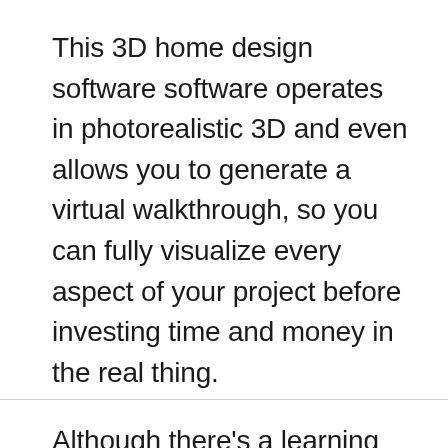This 3D home design software software operates in photorealistic 3D and even allows you to generate a virtual walkthrough, so you can fully visualize every aspect of your project before investing time and money in the real thing.
Although there’s a learning curve for new users, Virtual Architect provides technical support and tutorial videos, so it’s accessible to anyone with an interest in home design.